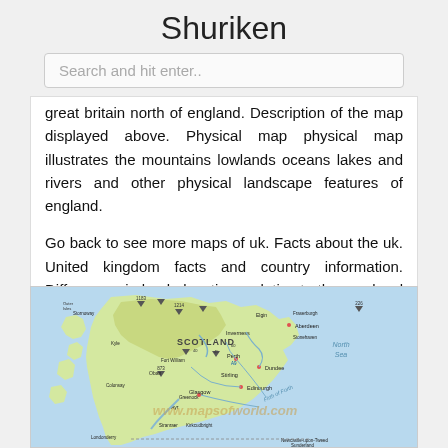Shuriken
Search and hit enter..
great britain north of england. Description of the map displayed above. Physical map physical map illustrates the mountains lowlands oceans lakes and rivers and other physical landscape features of england.

Go back to see more maps of uk. Facts about the uk. United kingdom facts and country information. Differences in land elevations relative to the sea level are represented by color.
[Figure (map): Physical map of Scotland showing terrain, mountains, cities, rivers, and the North Sea. Map includes labels for SCOTLAND, various cities like Glasgow, Edinburgh, Aberdeen, Dundee, and mountain peaks with elevation markers. Watermarked with www.mapsofworld.com]